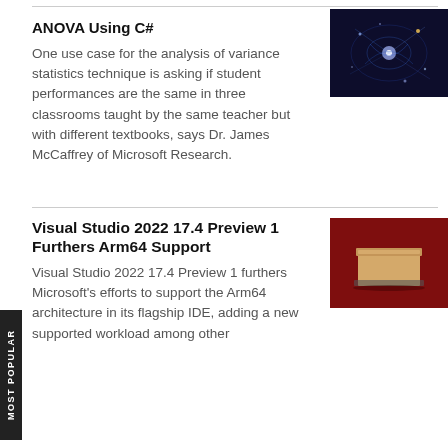ANOVA Using C#
One use case for the analysis of variance statistics technique is asking if student performances are the same in three classrooms taught by the same teacher but with different textbooks, says Dr. James McCaffrey of Microsoft Research.
[Figure (photo): Abstract glowing galaxy/network visualization on dark blue background]
Visual Studio 2022 17.4 Preview 1 Furthers Arm64 Support
Visual Studio 2022 17.4 Preview 1 furthers Microsoft's efforts to support the Arm64 architecture in its flagship IDE, adding a new supported workload among other
[Figure (photo): A wooden box on a tray against a red background]
MOST POPULAR